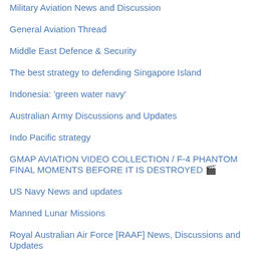Military Aviation News and Discussion
General Aviation Thread
Middle East Defence & Security
The best strategy to defending Singapore Island
Indonesia: 'green water navy'
Australian Army Discussions and Updates
Indo Pacific strategy
GMAP AVIATION VIDEO COLLECTION / F-4 PHANTOM FINAL MOMENTS BEFORE IT IS DESTROYED 🎬
US Navy News and updates
Manned Lunar Missions
Royal Australian Air Force [RAAF] News, Discussions and Updates